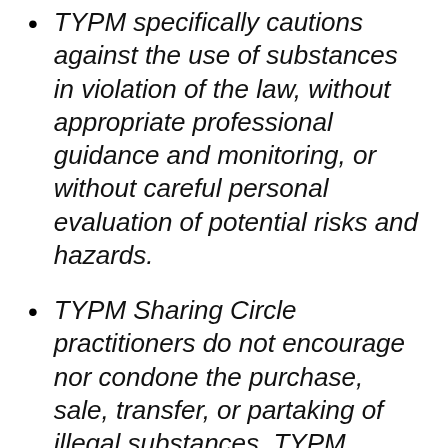TYPM specifically cautions against the use of substances in violation of the law, without appropriate professional guidance and monitoring, or without careful personal evaluation of potential risks and hazards.
TYPM Sharing Circle practitioners do not encourage nor condone the purchase, sale, transfer, or partaking of illegal substances. TYPM practitioners will not tell you where or how to find or procure illicit psychedelics if you contact us.